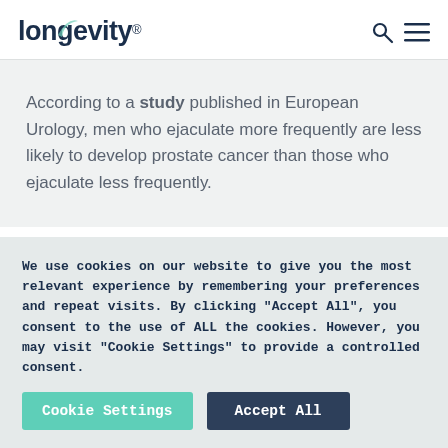longevity®
According to a study published in European Urology, men who ejaculate more frequently are less likely to develop prostate cancer than those who ejaculate less frequently.
We use cookies on our website to give you the most relevant experience by remembering your preferences and repeat visits. By clicking "Accept All", you consent to the use of ALL the cookies. However, you may visit "Cookie Settings" to provide a controlled consent.